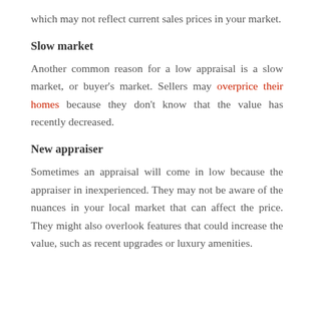which may not reflect current sales prices in your market.
Slow market
Another common reason for a low appraisal is a slow market, or buyer's market. Sellers may overprice their homes because they don't know that the value has recently decreased.
New appraiser
Sometimes an appraisal will come in low because the appraiser in inexperienced. They may not be aware of the nuances in your local market that can affect the price. They might also overlook features that could increase the value, such as recent upgrades or luxury amenities.